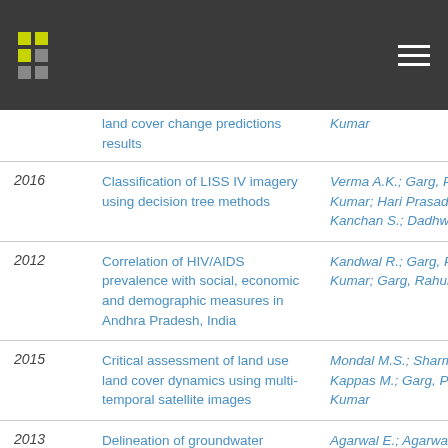Navigation header with logo and menu
| Year | Title | Authors |
| --- | --- | --- |
|  | land cover change predictions results | Kumar |
| 2016 | Classification of LISS IV imagery using decision tree methods | Verma A.K.; Garg, Pradeep Kumar; Hari Prasad, Kanchan S.; Dadhwal V.K. |
| 2012 | Correlation of HIV/AIDS prevalence with social, economic and demographic measures in Andhra Pradesh, India | Kandwal R.; Garg, Pradeep Kumar; Garg, Rahul D. |
| 2015 | Critical assessment of land use land cover dynamics using multi-temporal satellite images | Mondal M.S.; Sharma N.; Kappas M.; Garg, Pradeep Kumar |
| 2013 | Delineation of groundwater | Agarwal E.; Agarwal |